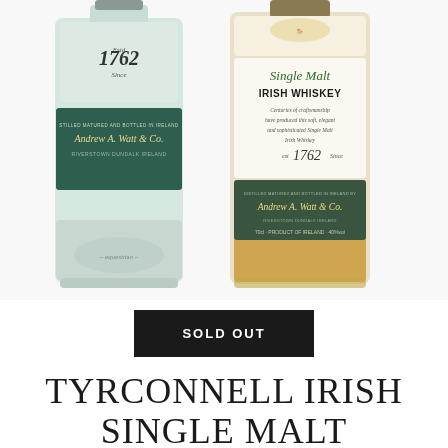[Figure (photo): Two bottles of Tyrconnell Irish Single Malt Whiskey side by side. The left bottle has a light blue/mint label with 'Estd 1762 Since', dark green band reading 'Stilled Matured and Bottled in Ireland by Andrew A. Watt & Co., Riverstown Dundalk Ireland', and equestrian illustration at bottom. The right bottle shows 'Single Malt Irish Whiskey', italic text 'Centuries of craftsmanship have produced this soft, elegant and sophisticated Single Malt Irish Whiskey', 'est 1762', and a label 'Andrew A. Watt & Co., Riverstown Dundalk Ireland, 70cl, Product of Ireland, 40%vol'. The right bottle contains amber-golden liquid.]
SOLD OUT
TYRCONNELL IRISH SINGLE MALT